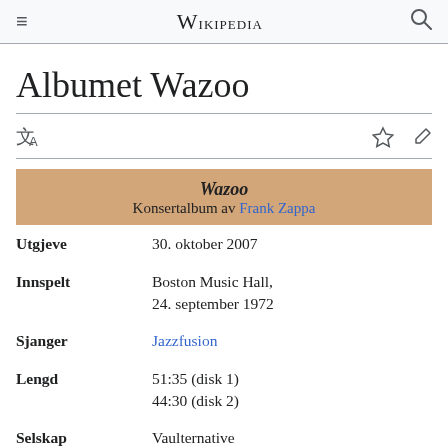≡ WIKIPEDIA 🔍
Albumet Wazoo
| Wazoo
Konsertalbum av Frank Zappa |
| Utgjeve | 30. oktober 2007 |
| Innspelt | Boston Music Hall, 24. september 1972 |
| Sjanger | Jazzfusion |
| Lengd | 51:35 (disk 1)
44:30 (disk 2) |
| Selskap | Vaulternative |